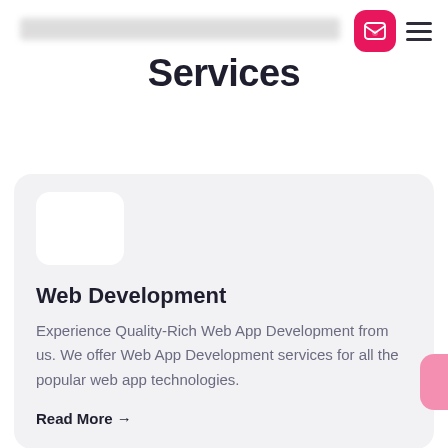[navigation bar with blurred logo/links, email icon button, hamburger menu]
Services
[Figure (other): Service card icon placeholder (white rounded rectangle on light gray background)]
Web Development
Experience Quality-Rich Web App Development from us. We offer Web App Development services for all the popular web app technologies.
Read More →